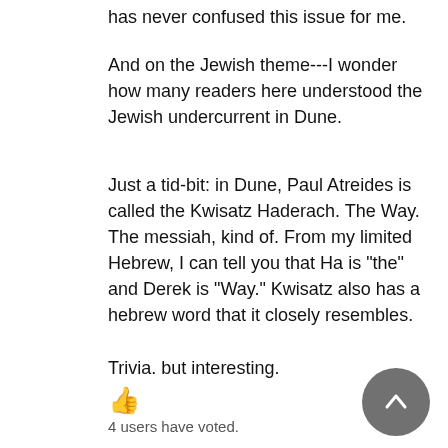has never confused this issue for me.
And on the Jewish theme---I wonder how many readers here understood the Jewish undercurrent in Dune.
Just a tid-bit: in Dune, Paul Atreides is called the Kwisatz Haderach. The Way. The messiah, kind of. From my limited Hebrew, I can tell you that Ha is "the" and Derek is "Way." Kwisatz also has a hebrew word that it closely resembles.
Trivia. but interesting.
👍
4 users have voted.
—
NYCVG